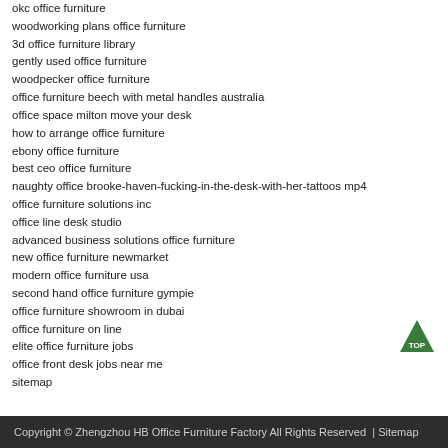okc office furniture
woodworking plans office furniture
3d office furniture library
gently used office furniture
woodpecker office furniture
office furniture beech with metal handles australia
office space milton move your desk
how to arrange office furniture
ebony office furniture
best ceo office furniture
naughty office brooke-haven-fucking-in-the-desk-with-her-tattoos mp4
office furniture solutions inc
office line desk studio
advanced business solutions office furniture
new office furniture newmarket
modern office furniture usa
second hand office furniture gympie
office furniture showroom in dubai
office furniture on line
elite office furniture jobs
office front desk jobs near me
sitemap
Copyright © Zhengzhou HB Office Furniture Factory All Rights Reserved  | Sitemap